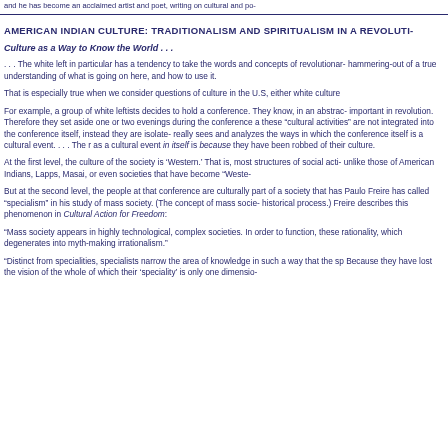and he has become an acclaimed artist and poet, writing on cultural and po-
AMERICAN INDIAN CULTURE: TRADITIONALISM AND SPIRITUALISM IN A REVOLUTI-
Culture as a Way to Know the World . . .
. . . The white left in particular has a tendency to take the words and concepts of revolutionar- hammering-out of a true understanding of what is going on here, and how to use it.
That is especially true when we consider questions of culture in the U.S, either white culture
For example, a group of white leftists decides to hold a conference. They know, in an abstrac- important in revolution. Therefore they set aside one or two evenings during the conference a these “cultural activities” are not integrated into the conference itself, instead they are isolate- really sees and analyzes the ways in which the conference itself is a cultural event. . . . The r as a cultural event in itself is because they have been robbed of their culture.
At the first level, the culture of the society is ‘Western.’ That is, most structures of social acti- unlike those of American Indians, Lapps, Masai, or even societies that have become “Weste-
But at the second level, the people at that conference are culturally part of a society that has Paulo Freire has called “specialism” in his study of mass society. (The concept of mass socie- historical process.) Freire describes this phenomenon in Cultural Action for Freedom:
“Mass society appears in highly technological, complex societies. In order to function, these rationality, which degenerates into myth-making irrationalism.”
“Distinct from specialities, specialists narrow the area of knowledge in such a way that the sp Because they have lost the vision of the whole of which their ‘speciality’ is only one dimensio-